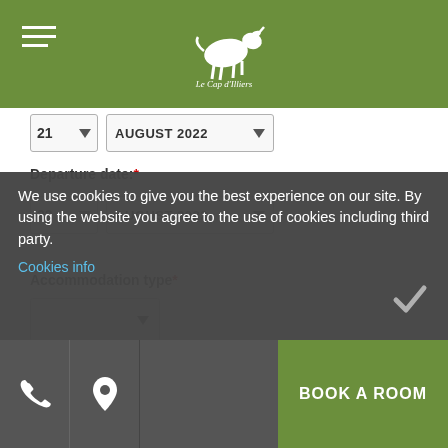Le Cap d'Illiers logo and navigation
21  AUGUST 2022 (arrival date partial row)
Departure date: *
22  AUGUST 2022
Accommodation type *
Adults * Children
We use cookies to give you the best experience on our site. By using the website you agree to the use of cookies including third party. Cookies info
BOOK A ROOM